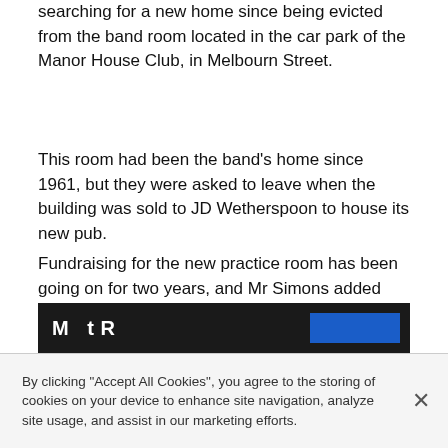searching for a new home since being evicted from the band room located in the car park of the Manor House Club, in Melbourn Street.
This room had been the band's home since 1961, but they were asked to leave when the building was sold to JD Wetherspoon to house its new pub.
Fundraising for the new practice room has been going on for two years, and Mr Simons added that the band is still on the look-out for sponsors via a scheme called Bandroom Benefactors. This sees benefactors pay £50 towards the cost of the band room, and in return will get a brass plaque in the new building complete with the engraving of their choice.
[Figure (screenshot): Dark banner with partial text 'Most Read' and a blue button element visible]
By clicking "Accept All Cookies", you agree to the storing of cookies on your device to enhance site navigation, analyze site usage, and assist in our marketing efforts.